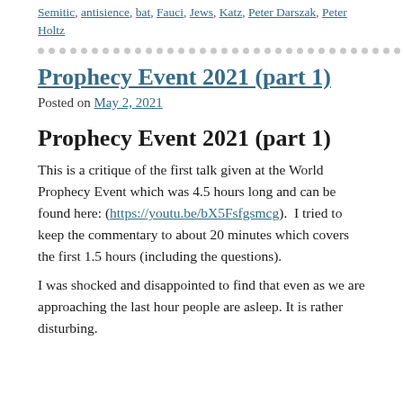Semitic, antisience, bat, Fauci, Jews, Katz, Peter Darszak, Peter Holtz
Prophecy Event 2021 (part 1)
Posted on May 2, 2021
Prophecy Event 2021 (part 1)
This is a critique of the first talk given at the World Prophecy Event which was 4.5 hours long and can be found here: (https://youtu.be/bX5Fsfgsmcg).  I tried to keep the commentary to about 20 minutes which covers the first 1.5 hours (including the questions).
I was shocked and disappointed to find that even as we are approaching the last hour people are asleep. It is rather disturbing.